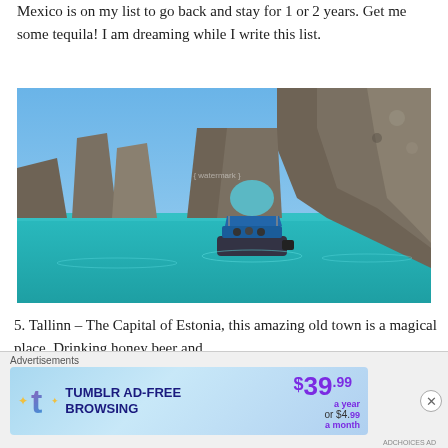Mexico is on my list to go back and stay for 1 or 2 years. Get me some tequila! I am dreaming while I write this list.
[Figure (photo): Photo of El Arco rock arch formation at Cabo San Lucas, Mexico, with turquoise water and a small tourist boat in the foreground.]
5. Tallinn – The Capital of Estonia, this amazing old town is a magical place. Drinking honey beer and
Advertisements
[Figure (screenshot): Tumblr Ad-Free Browsing advertisement banner showing $39.99 a year or $4.99 a month pricing.]